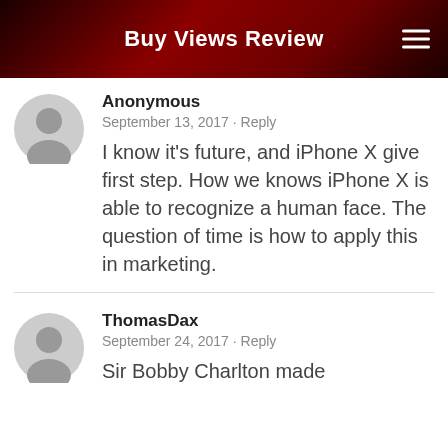Buy Views Review
Anonymous
September 13, 2017 · Reply
I know it's future, and iPhone X give first step. How we knows iPhone X is able to recognize a human face. The question of time is how to apply this in marketing.
ThomasDax
September 24, 2017 · Reply
Sir Bobby Charlton made